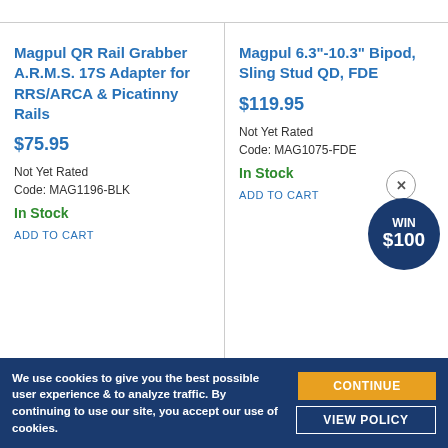Magpul QR Rail Grabber A.R.M.S. 17S Adapter for RRS/ARCA & Picatinny Rails
$75.95
Not Yet Rated
Code: MAG1196-BLK
In Stock
ADD TO CART
Magpul 6.3"-10.3" Bipod, Sling Stud QD, FDE
$119.95
Not Yet Rated
Code: MAG1075-FDE
In Stock
ADD TO CART
WIN $100
We use cookies to give you the best possible user experience & to analyze traffic. By continuing to use our site, you accept our use of cookies.
CONTINUE
VIEW POLICY